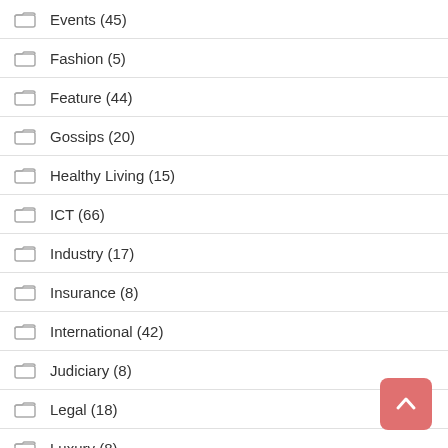Events (45)
Fashion (5)
Feature (44)
Gossips (20)
Healthy Living (15)
ICT (66)
Industry (17)
Insurance (8)
International (42)
Judiciary (8)
Legal (18)
Luxury (8)
Movies (39)
Music (58)
News (2,008)